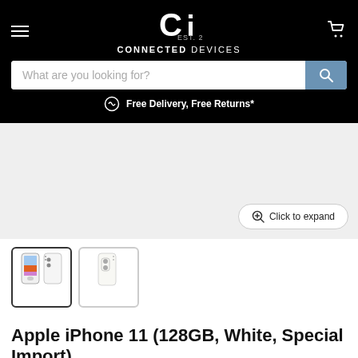[Figure (logo): Connected Devices logo - white CI monogram on black background with EST. 2016 text and CONNECTED DEVICES brand name]
What are you looking for?
Free Delivery, Free Returns*
[Figure (photo): Large product image area showing iPhone 11 in white, currently empty/grey background with Click to expand button]
[Figure (photo): Thumbnail 1: iPhone 11 front and back view showing colorful screen - selected]
[Figure (photo): Thumbnail 2: iPhone 11 back view in white]
Apple iPhone 11 (128GB, White, Special Import)